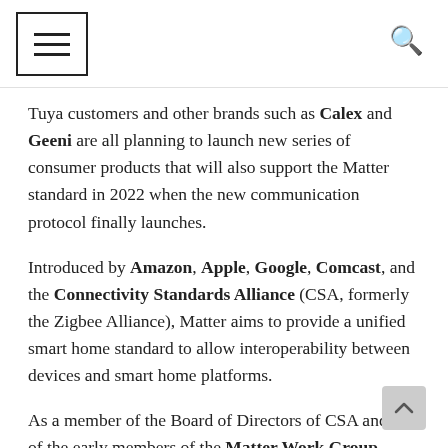≡  🔍
Tuya customers and other brands such as Calex and Geeni are all planning to launch new series of consumer products that will also support the Matter standard in 2022 when the new communication protocol finally launches.
Introduced by Amazon, Apple, Google, Comcast, and the Connectivity Standards Alliance (CSA, formerly the Zigbee Alliance), Matter aims to provide a unified smart home standard to allow interoperability between devices and smart home platforms.
As a member of the Board of Directors of CSA and one of the early members of the Matter Work Group, Tuya has been expanding its commitment